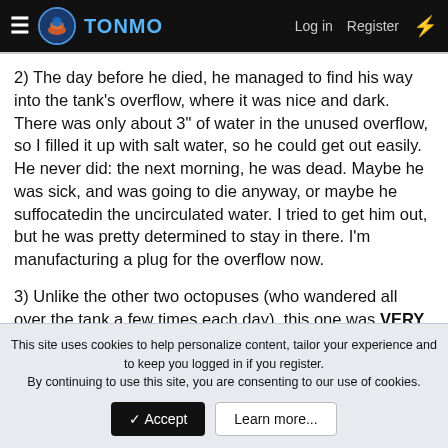TONMO  Log in  Register
2) The day before he died, he managed to find his way into the tank's overflow, where it was nice and dark. There was only about 3" of water in the unused overflow, so I filled it up with salt water, so he could get out easily. He never did: the next morning, he was dead. Maybe he was sick, and was going to die anyway, or maybe he suffocatedin the uncirculated water. I tried to get him out, but he was pretty determined to stay in there. I'm manufacturing a plug for the overflow now.
3) Unlike the other two octopuses (who wandered all over the tank a few times each day), this one was VERY reclusive. Maybe he was sick, or maybe he was shy.
This site uses cookies to help personalize content, tailor your experience and to keep you logged in if you register.
By continuing to use this site, you are consenting to our use of cookies.